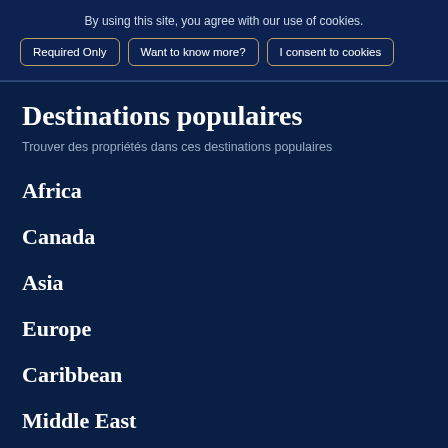By using this site, you agree with our use of cookies.
Required Only | Want to know more? | I consent to cookies
Destinations populaires
Trouver des propriétés dans ces destinations populaires
Africa
Canada
Asia
Europe
Caribbean
Middle East